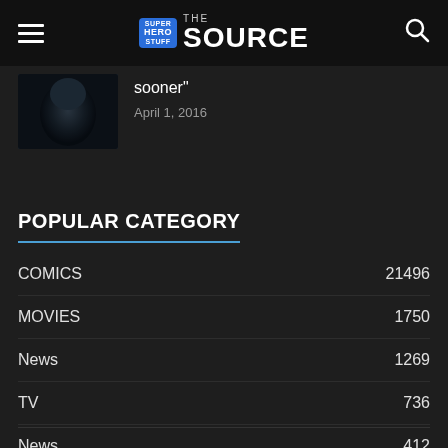Super Hero Stuff THE SOURCE
[Figure (photo): Dark moody close-up of a man's face with dramatic lighting]
sooner"
April 1, 2016
POPULAR CATEGORY
COMICS 21496
MOVIES 1750
News 1269
TV 736
News 412